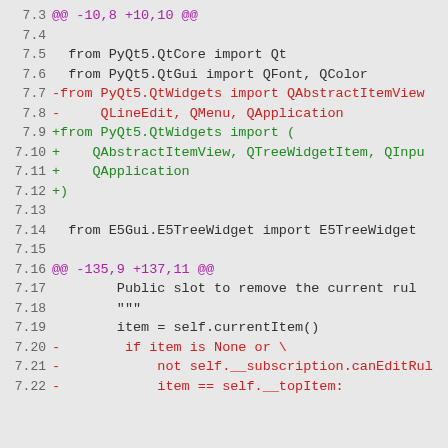[Figure (screenshot): Code diff screenshot showing lines 7.3 to 7.22 of a Python file with removed lines in red and added lines in green, context lines in dark gray, and line numbers in gray. Hunk headers in purple.]